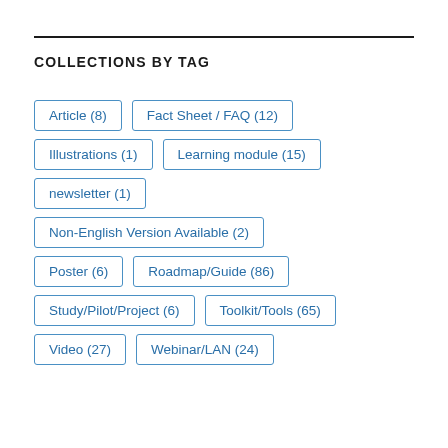COLLECTIONS BY TAG
Article (8)
Fact Sheet / FAQ (12)
Illustrations (1)
Learning module (15)
newsletter (1)
Non-English Version Available (2)
Poster (6)
Roadmap/Guide (86)
Study/Pilot/Project (6)
Toolkit/Tools (65)
Video (27)
Webinar/LAN (24)